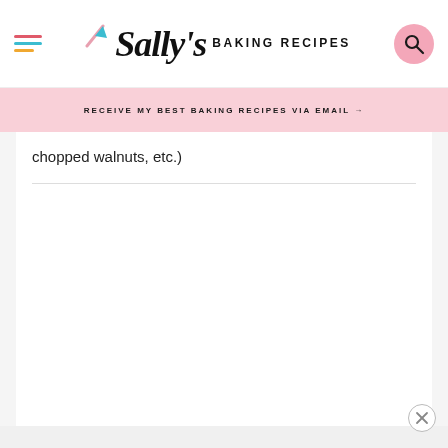Sally's Baking Recipes
RECEIVE MY BEST BAKING RECIPES VIA EMAIL →
chopped walnuts, etc.)